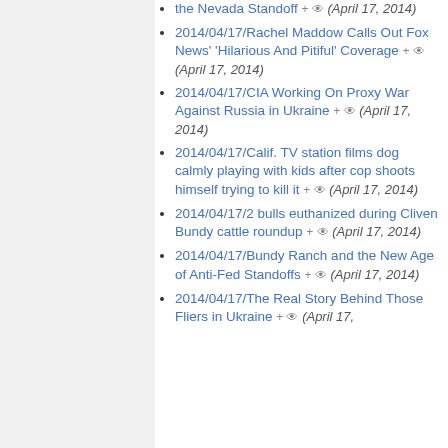the Nevada Standoff (April 17, 2014)
2014/04/17/Rachel Maddow Calls Out Fox News' 'Hilarious And Pitiful' Coverage (April 17, 2014)
2014/04/17/CIA Working On Proxy War Against Russia in Ukraine (April 17, 2014)
2014/04/17/Calif. TV station films dog calmly playing with kids after cop shoots himself trying to kill it (April 17, 2014)
2014/04/17/2 bulls euthanized during Cliven Bundy cattle roundup (April 17, 2014)
2014/04/17/Bundy Ranch and the New Age of Anti-Fed Standoffs (April 17, 2014)
2014/04/17/The Real Story Behind Those Fliers in Ukraine (April 17,